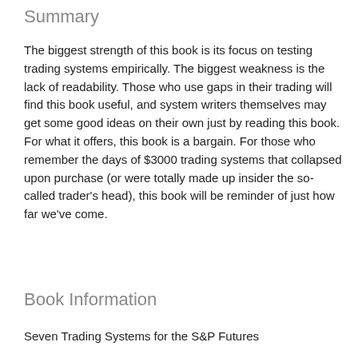Summary
The biggest strength of this book is its focus on testing trading systems empirically. The biggest weakness is the lack of readability. Those who use gaps in their trading will find this book useful, and system writers themselves may get some good ideas on their own just by reading this book. For what it offers, this book is a bargain. For those who remember the days of $3000 trading systems that collapsed upon purchase (or were totally made up insider the so-called trader's head), this book will be reminder of just how far we've come.
Book Information
Seven Trading Systems for the S&P Futures